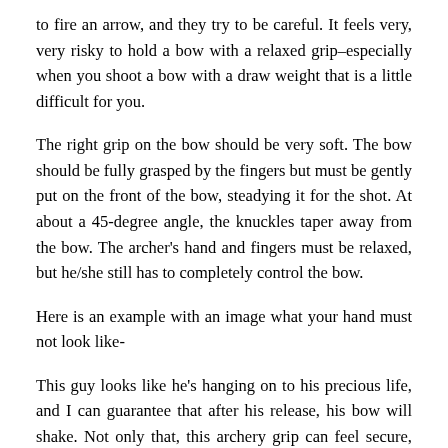to fire an arrow, and they try to be careful. It feels very, very risky to hold a bow with a relaxed grip–especially when you shoot a bow with a draw weight that is a little difficult for you.
The right grip on the bow should be very soft. The bow should be fully grasped by the fingers but must be gently put on the front of the bow, steadying it for the shot. At about a 45-degree angle, the knuckles taper away from the bow. The archer's hand and fingers must be relaxed, but he/she still has to completely control the bow.
Here is an example with an image what your hand must not look like-
This guy looks like he's hanging on to his precious life, and I can guarantee that after his release, his bow will shake. Not only that, this archery grip can feel secure, but it's actually risky, because after you release the arrow, you